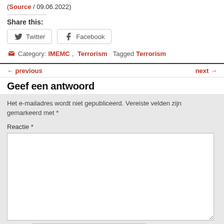(Source / 09.06.2022)
Share this:
Twitter  Facebook
Category: IMEMC, Terrorism Tagged Terrorism
← previous   next →
Geef een antwoord
Het e-mailadres wordt niet gepubliceerd. Vereiste velden zijn gemarkeerd met *
Reactie *
Naam *